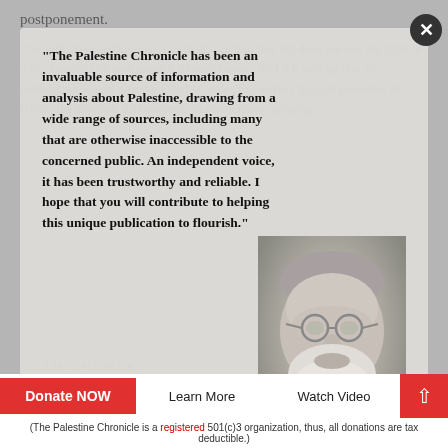postponement.
"We will do everything we can to ensure that this list does not see the light of day", Israel's UN ambassador, Danny Danon, told AP, adding that its publication would turn the UNHRC into "the world's biggest promoter of BDS", the Boycott, Divestment, and Sanctions campaign.
[Figure (illustration): Modal overlay with quote by Noam Chomsky and photo of an elderly man with glasses and white beard]
"The Palestine Chronicle has been an invaluable source of information and analysis about Palestine, drawing from a wide range of sources, including many that are otherwise inaccessible to the concerned public. An independent voice, it has been trustworthy and reliable. I hope that you will contribute to helping this unique publication to flourish."
— Robert Martin, (@Robert_MartHo72) November 26, 2017
NOAM CHOMSKY
According to AP, "[Israeli] officials say they are taking the so-called 'blacklist' seriously, fearing its publication could have devastating consequences by driving companies away, deterring others from coming, and prompting investors to
Donate NOW
Learn More
Watch Video
(The Palestine Chronicle is a registered 501(c)3 organization, thus, all donations are tax deductible.)